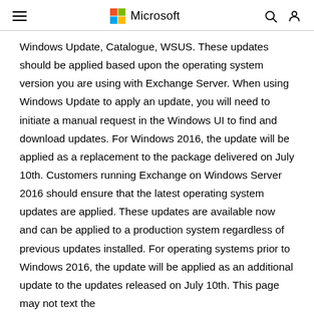Microsoft
Windows Update, Catalogue, WSUS. These updates should be applied based upon the operating system version you are using with Exchange Server. When using Windows Update to apply an update, you will need to initiate a manual request in the Windows UI to find and download updates. For Windows 2016, the update will be applied as a replacement to the package delivered on July 10th. Customers running Exchange on Windows Server 2016 should ensure that the latest operating system updates are applied. These updates are available now and can be applied to a production system regardless of previous updates installed. For operating systems prior to Windows 2016, the update will be applied as an additional update to the updates released on July 10th. This page may not text the